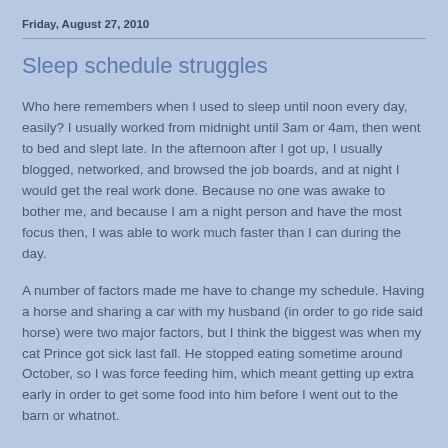Friday, August 27, 2010
Sleep schedule struggles
Who here remembers when I used to sleep until noon every day, easily? I usually worked from midnight until 3am or 4am, then went to bed and slept late. In the afternoon after I got up, I usually blogged, networked, and browsed the job boards, and at night I would get the real work done. Because no one was awake to bother me, and because I am a night person and have the most focus then, I was able to work much faster than I can during the day.
A number of factors made me have to change my schedule. Having a horse and sharing a car with my husband (in order to go ride said horse) were two major factors, but I think the biggest was when my cat Prince got sick last fall. He stopped eating sometime around October, so I was force feeding him, which meant getting up extra early in order to get some food into him before I went out to the barn or whatnot.